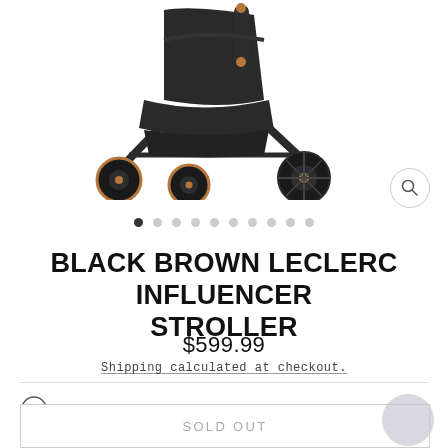[Figure (photo): Black and rose gold Leclerc Influencer stroller shown from side angle, with four wheels visible, dark frame and fabric seat]
● ○ ○ ○ ○ ○ ○ ○ ○ ○ (image carousel dots, first active)
BLACK BROWN LECLERC INFLUENCER STROLLER
$599.99
Shipping calculated at checkout.
For Ages: 12-24 Month Olds
Free shipping on orders over $150 throughout Contiguous USA
SOLD OUT